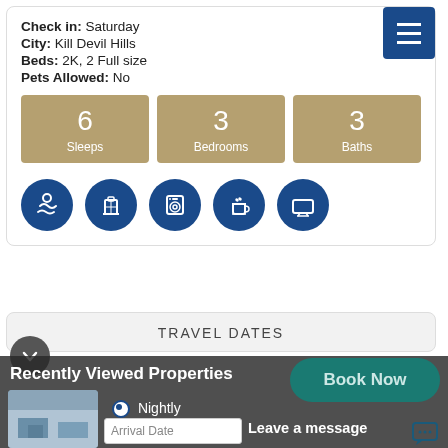Check in: Saturday
City: Kill Devil Hills
Beds: 2K, 2 Full size
Pets Allowed: No
[Figure (infographic): Three tan/gold stat boxes: 6 Sleeps, 3 Bedrooms, 3 Baths]
[Figure (infographic): Five blue circle icons: swimmer, luggage/elevator, washer, coffee cup, TV]
TRAVEL DATES
Recently Viewed Properties
Book Now
Nightly
Arrival Date
Leave a message